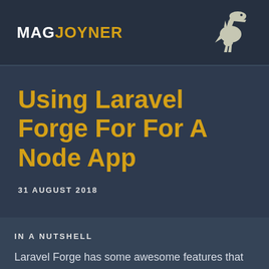MAGJOYNER
Using Laravel Forge For For A Node App
31 AUGUST 2018
IN A NUTSHELL
Laravel Forge has some awesome features that can be leveraged for non-Laravel/PHP apps. Learn how to setup a Node app for easy